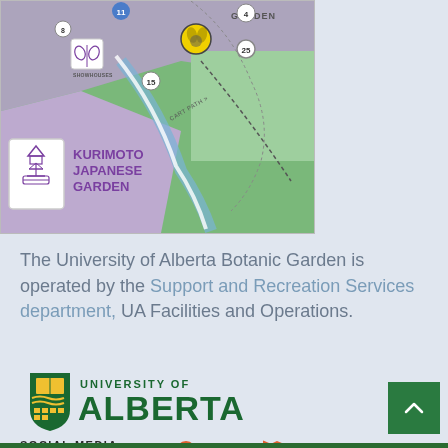[Figure (map): Partial map of University of Alberta Botanic Garden showing Kurimoto Japanese Garden area, with numbered markers (4, 8, 11, 15, 25), showhouses icon, bee icon, path areas, and cart path label.]
The University of Alberta Botanic Garden is operated by the Support and Recreation Services department, UA Facilities and Operations.
[Figure (logo): University of Alberta logo with shield icon and green text reading UNIVERSITY OF ALBERTA, followed by SOCIAL MEDIA label and social media icons (email, Facebook, Twitter, Instagram, Pinterest, TripAdvisor, map).]